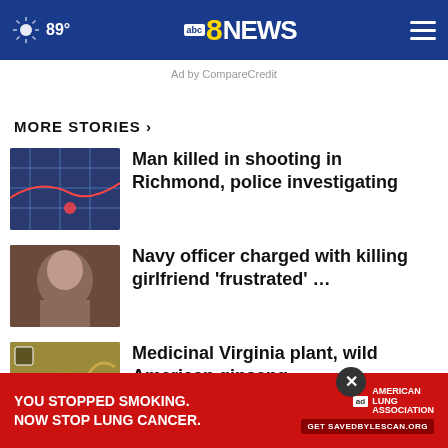89° abc8NEWS
Ad by CompareCredit
MORE STORIES ›
Man killed in shooting in Richmond, police investigating
Navy officer charged with killing girlfriend 'frustrated' …
Medicinal Virginia plant, wild American ginseng, …
Driver charged after pedestrian killed in crash in
[Figure (screenshot): Red advertisement banner: YOU STOPPED SMOKING. NOW STOP LUNG CANCER. American Lung Association logo and SAVEDBYLESCAN.ORG URL]
MISSING W... rd